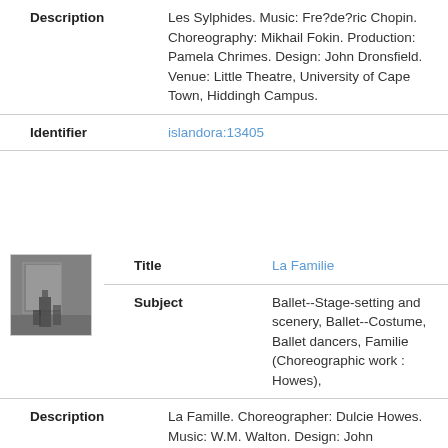| Field | Value |
| --- | --- |
| Description | Les Sylphides. Music: Fre?de?ric Chopin. Choreography: Mikhail Fokin. Production: Pamela Chrimes. Design: John Dronsfield. Venue: Little Theatre, University of Cape Town, Hiddingh Campus. |
| Identifier | islandora:13405 |
[Figure (photo): Black and white photograph of a ballet stage scene with a figure standing]
| Field | Value |
| --- | --- |
| Title | La Familie |
| Subject | Ballet--Stage-setting and scenery, Ballet--Costume, Ballet dancers, Familie (Choreographic work : Howes), |
| Description | La Famille. Choreographer: Dulcie Howes. Music: W.M. Walton. Design: John Dronsfield. Venue: Little Theatre, University of Cape Town, Hiddingh Campus. |
| Identifier | islandora:13404 |